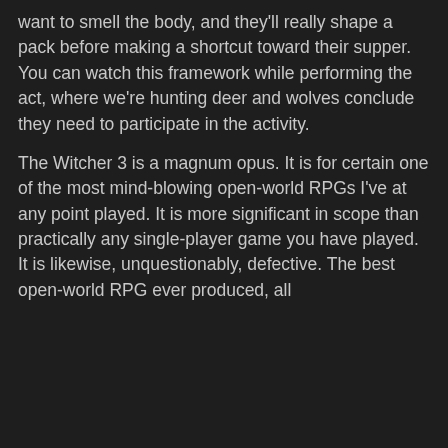want to smell the body, and they'll really shape a pack before making a shortcut toward their supper. You can watch this framework while performing the act, where we're hunting deer and wolves conclude they need to participate in the activity.
The Witcher 3 is a magnum opus. It is for certain one of the most mind-blowing open-world RPGs I've at any point played. It is more significant in scope than practically any single-player game you have played. It is likewise, unquestionably, defective. The best open-world RPG ever produced, all